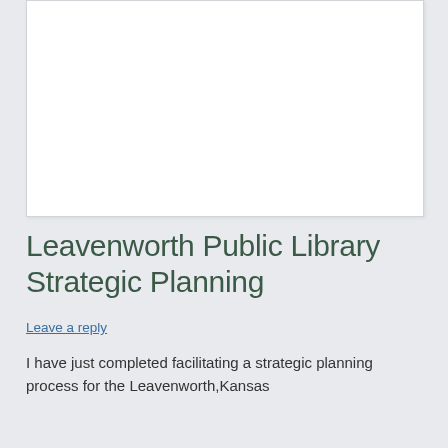[Figure (other): White rectangle image placeholder area at the top of the page]
Leavenworth Public Library Strategic Planning
Leave a reply
I have just completed facilitating a strategic planning process for the Leavenworth,Kansas